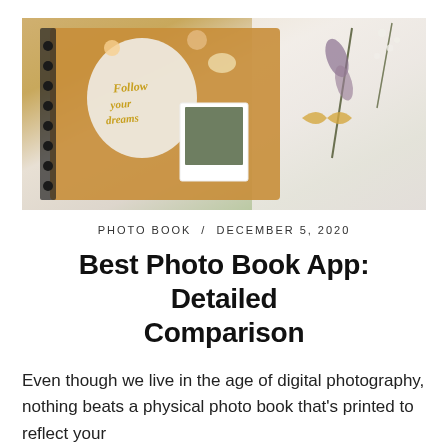[Figure (photo): A spiral-bound scrapbook/photo book lying on a white fabric surface, decorated with colorful stickers and cutouts including florals, animals, and handwritten text saying 'Follow your dreams'. A small polaroid photo is visible on the book. A sprig of dried lavender and baby's breath flowers are placed to the right.]
PHOTO BOOK / DECEMBER 5, 2020
Best Photo Book App: Detailed Comparison
Even though we live in the age of digital photography, nothing beats a physical photo book that's printed to reflect your